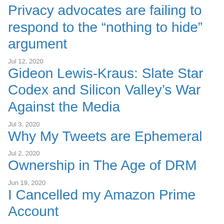Privacy advocates are failing to respond to the “nothing to hide” argument
Jul 12, 2020
Gideon Lewis-Kraus: Slate Star Codex and Silicon Valley’s War Against the Media
Jul 3, 2020
Why My Tweets are Ephemeral
Jul 2, 2020
Ownership in The Age of DRM
Jun 19, 2020
I Cancelled my Amazon Prime Account
Jun 18, 2020
Read: How Mastodon Works